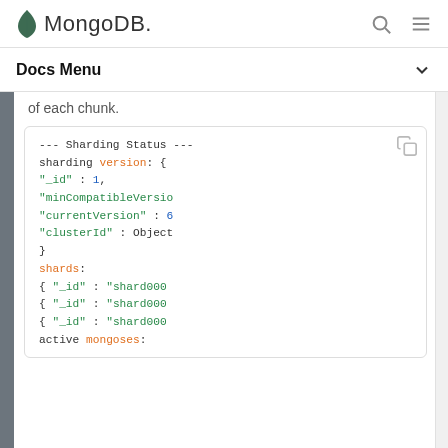MongoDB
Docs Menu
of each chunk.
--- Sharding Status ---
sharding version: {
  "_id" : 1,
  "minCompatibleVersio
  "currentVersion" : 6
  "clusterId" : Object
}
shards:
  { "_id" : "shard000
  { "_id" : "shard000
  { "_id" : "shard000
active mongoses: